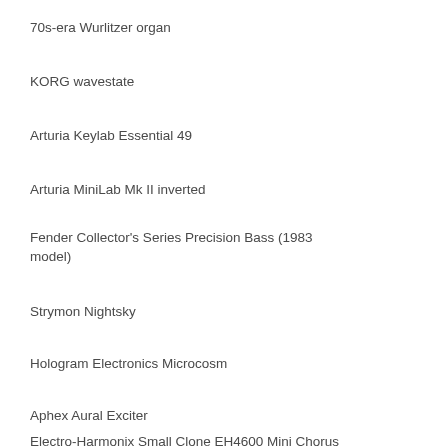70s-era Wurlitzer organ
KORG wavestate
Arturia Keylab Essential 49
Arturia MiniLab Mk II inverted
Fender Collector's Series Precision Bass (1983 model)
Strymon Nightsky
Hologram Electronics Microcosm
Aphex Aural Exciter
Electro-Harmonix Small Clone EH4600 Mini Chorus